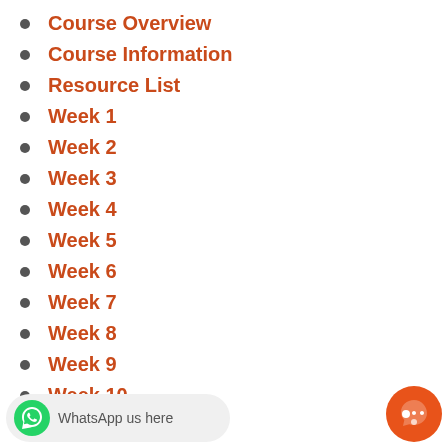Course Overview
Course Information
Resource List
Week 1
Week 2
Week 3
Week 4
Week 5
Week 6
Week 7
Week 8
Week 9
Week 10
WhatsApp us here